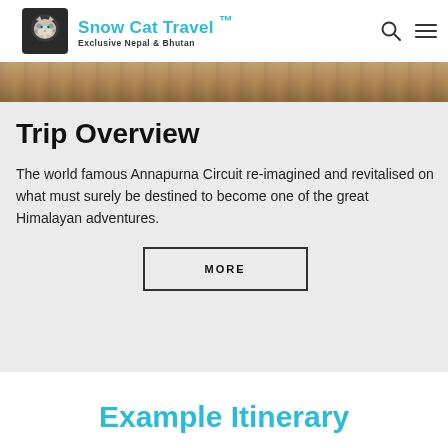Snow Cat Travel ™ Exclusive Nepal & Bhutan
[Figure (photo): Partial outdoor photo strip showing rocky/sandy terrain, top edge of page content area]
Trip Overview
The world famous Annapurna Circuit re-imagined and revitalised on what must surely be destined to become one of the great Himalayan adventures.
MORE
Example Itinerary